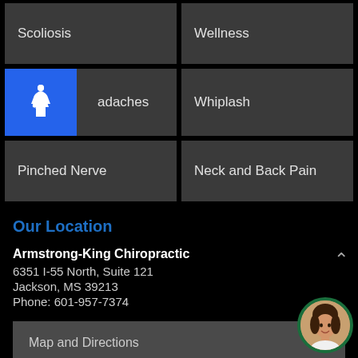Scoliosis
Wellness
adaches
Whiplash
Pinched Nerve
Neck and Back Pain
Our Location
Armstrong-King Chiropractic
6351 I-55 North, Suite 121
Jackson, MS 39213
Phone: 601-957-7374
Map and Directions